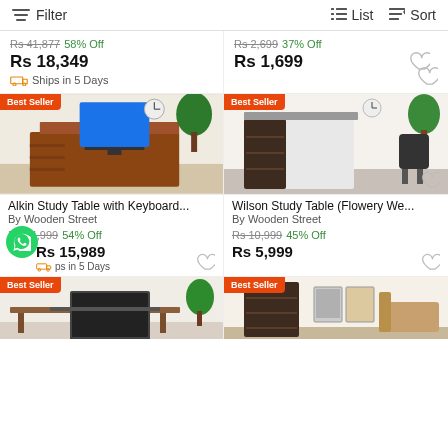Filter   List   Sort
Rs 41,877 58% Off
Rs 18,349
Ships in 5 Days
Rs 2,699 37% Off
Rs 1,699
[Figure (photo): Alkin Study Table with Keyboard tray, wooden, Best Seller badge]
[Figure (photo): Wilson Study Table Flowery We..., white and dark, Best Seller badge]
Alkin Study Table with Keyboard...
By Wooden Street
Rs 34,999 54% Off
Rs 15,989
Ships in 5 Days
Wilson Study Table (Flowery We...
By Wooden Street
Rs 10,999 45% Off
Rs 5,999
[Figure (photo): Best Seller product preview bottom left]
[Figure (photo): Best Seller product preview bottom right]